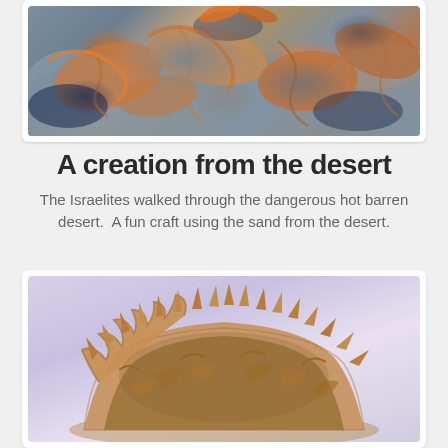[Figure (photo): Close-up photo of swirling sand art with orange and grey-blue patterns on dark blue background]
A creation from the desert
The Israelites walked through the dangerous hot barren desert.  A fun craft using the sand from the desert.
[Figure (photo): Photo of a clay/sand bowl with leaf-shaped jagged rim edges on a light purple background]